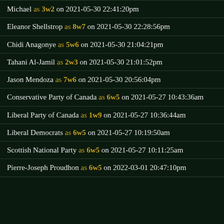Michael as 3w2 on 2021-05-30 22:41:20pm
Eleanor Shellstrop as 8w7 on 2021-05-30 22:28:56pm
Chidi Anagonye as 5w6 on 2021-05-30 21:04:21pm
Tahani Al-Jamil as 2w3 on 2021-05-30 21:01:52pm
Jason Mendoza as 7w6 on 2021-05-30 20:56:04pm
Conservative Party of Canada as 6w5 on 2021-05-27 10:43:36am
Liberal Party of Canada as 1w9 on 2021-05-27 10:36:44am
Liberal Democrats as 6w5 on 2021-05-27 10:19:50am
Scottish National Party as 6w5 on 2021-05-27 10:11:25am
Pierre-Joseph Proudhon as 6w5 on 2022-03-01 20:47:10pm